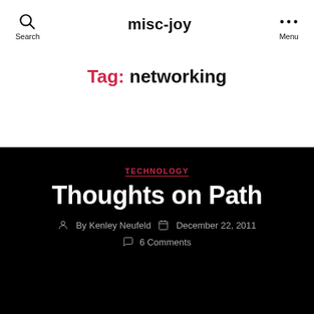misc-joy
Tag: networking
TECHNOLOGY
Thoughts on Path
By Kenley Neufeld  December 22, 2011  6 Comments
I signed up for Path last year when they launched. It was